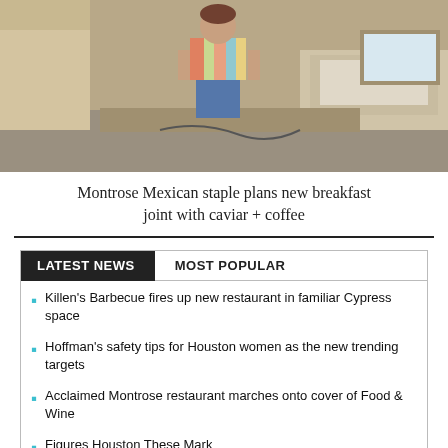[Figure (photo): Woman standing in a restaurant under construction, wearing colorful striped top and jeans shorts, surrounded by unfinished counter areas and building materials.]
Montrose Mexican staple plans new breakfast joint with caviar + coffee
LATEST NEWS | MOST POPULAR
Killen's Barbecue fires up new restaurant in familiar Cypress space
Hoffman's safety tips for Houston women as the new trending targets
Acclaimed Montrose restaurant marches onto cover of Food & Wine
Figures Houston These Mark...